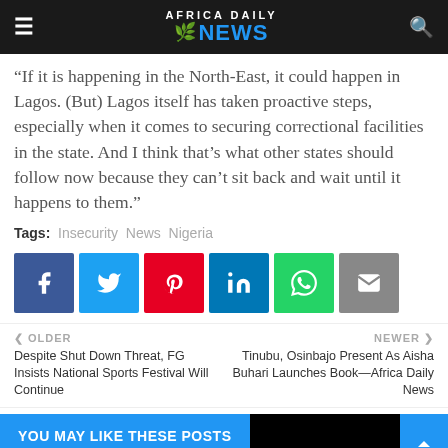Africa Daily News
“If it is happening in the North-East, it could happen in Lagos. (But) Lagos itself has taken proactive steps, especially when it comes to securing correctional facilities in the state. And I think that’s what other states should follow now because they can’t sit back and wait until it happens to them.”
Tags: Insecurity  News  Nigeria
[Figure (infographic): Social sharing buttons: Facebook, Twitter, Pinterest, LinkedIn, WhatsApp, Email]
OLDER: Despite Shut Down Threat, FG Insists National Sports Festival Will Continue
NEWER: Tinubu, Osinbajo Present As Aisha Buhari Launches Book—Africa Daily News
YOU MAY LIKE THESE POSTS
Terrorists Attack Troops Of Presidential